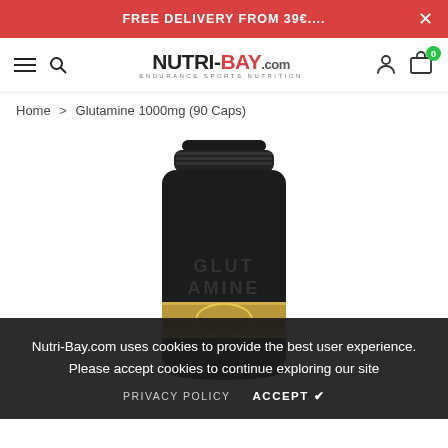FREE DELIVERY FROM 39€....
[Figure (logo): NUTRI-BAY.com logo with tagline ENDURANCE SPORTS NUTRITION]
Home > Glutamine 1000mg (90 Caps)
[Figure (photo): Black supplement bottle with gold band, Glutamine 1000mg capsules product]
Nutri-Bay.com uses cookies to provide the best user experience. Please accept cookies to continue exploring our site
PRIVACY POLICY   ACCEPT ✔